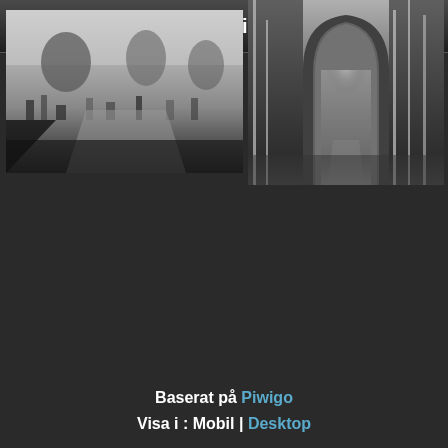Galerie
[Figure (photo): Black and white photograph of a cemetery with gravestones, crosses, and bare trees along a path]
[Figure (photo): Black and white photograph of a gothic stone arch gateway overgrown with trees and vegetation]
Baserat på Piwigo
Visa i : Mobil | Desktop